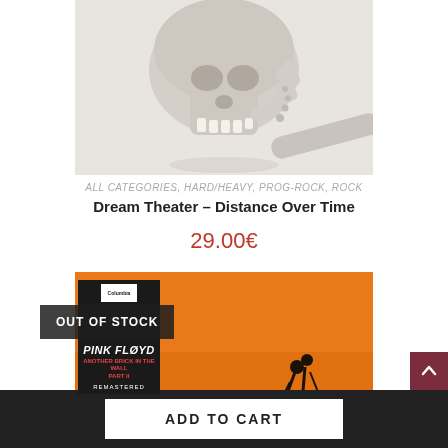[Figure (photo): Robotic hand holding a human skull, gray/beige tones on white background]
ALL CATEGORIES, HARD/HEAVY, PROG-ROCK, ROCK
Dream Theater – Distance Over Time
29.00€
[Figure (photo): Album cover: Pink Floyd album (dark cover with band name) overlaid on orange background with silhouette figures. OUT OF STOCK badge visible.]
OUT OF STOCK
ADD TO CART